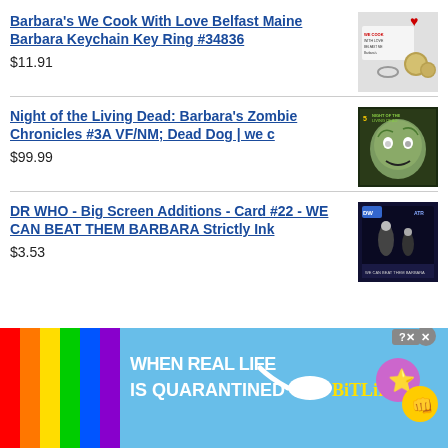Barbara's We Cook With Love Belfast Maine Barbara Keychain Key Ring #34836
$11.91
[Figure (photo): Product photo of a keychain/key ring from Barbara's We Cook With Love Belfast Maine]
Night of the Living Dead: Barbara's Zombie Chronicles #3A VF/NM; Dead Dog | we c
$99.99
[Figure (photo): Comic book cover for Night of the Living Dead: Barbara's Zombie Chronicles #3A showing a zombie face]
DR WHO - Big Screen Additions - Card #22 - WE CAN BEAT THEM BARBARA Strictly Ink
$3.53
[Figure (photo): Trading card from DR WHO Big Screen Additions Card #22 WE CAN BEAT THEM BARBARA by Strictly Ink]
[Figure (screenshot): Ad banner for BitLife mobile game reading 'WHEN REAL LIFE IS QUARANTINED' with rainbow stripe and emoji characters, with close buttons]